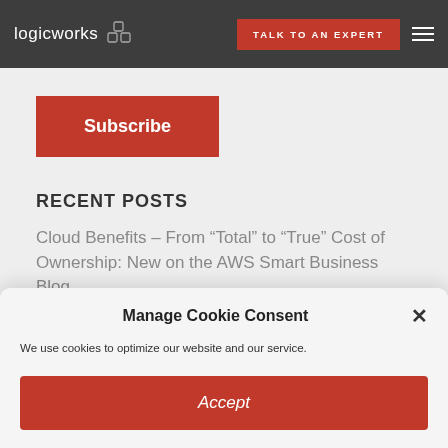logicworks | TALK TO AN EXPERT
Subscribe
RECENT POSTS
Cloud Benefits – From “Total” to “True” Cost of Ownership: New on the AWS Smart Business Blog
Manage Cookie Consent
We use cookies to optimize our website and our service.
Accept